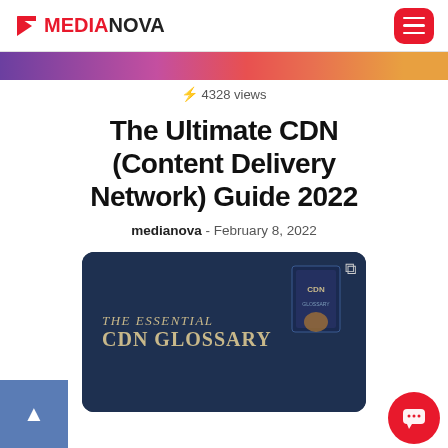MEDIANOVA
[Figure (photo): Colorful gradient banner image strip at top of article]
⚡ 4328 views
The Ultimate CDN (Content Delivery Network) Guide 2022
medianova - February 8, 2022
[Figure (photo): Dark blue promotional image showing 'THE ESSENTIAL CDN GLOSSARY' text with a hand holding a CDN book and external link icon]